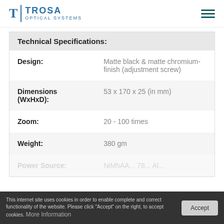TROSA OPTICAL SYSTEMS
| Technical Specifications: |
| --- |
| Design: | Matte black & matte chromium-finish (adjustment screw) |
| Dimensions (WxHxD): | 53 x 170 x 25 (in mm) |
| Zoom: | 20 - 100 times |
| Weight: | 380 gm |
This internet site uses cookies in order to enable complete and correct functionality of the website. Please click "Accept" on the right, to accept cookies. More Information